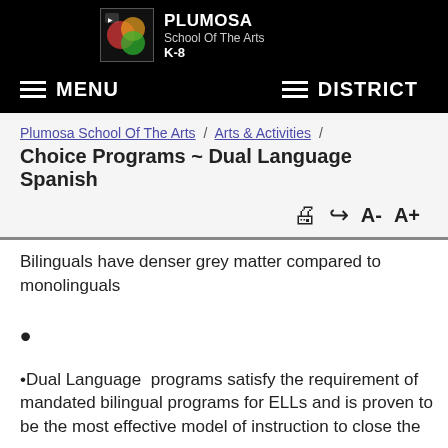PLUMOSA School Of The Arts K-8
MENU  DISTRICT
Plumosa School Of The Arts / Arts & Activities / Choice Programs ~ Dual Language Spanish
Bilinguals have denser grey matter compared to monolinguals
•Dual Language  programs satisfy the requirement of mandated bilingual programs for ELLs and is proven to be the most effective model of instruction to close the